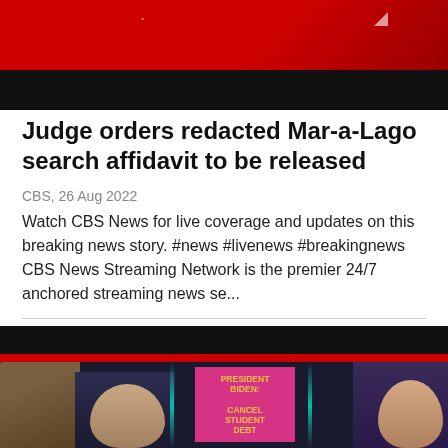[Figure (screenshot): CBS News red and black broadcast thumbnail header]
Judge orders redacted Mar-a-Lago search affidavit to be released
CBS, 26 Aug 2022
Watch CBS News for live coverage and updates on this breaking news story. #news #livenews #breakingnews CBS News Streaming Network is the premier 24/7 anchored streaming news se...
[Figure (screenshot): News collage thumbnail showing Elon Musk with Twitter bird logo, and a person holding a pink sign reading PRESIDENT BIDEN: CANCEL STUDENT DEBT]